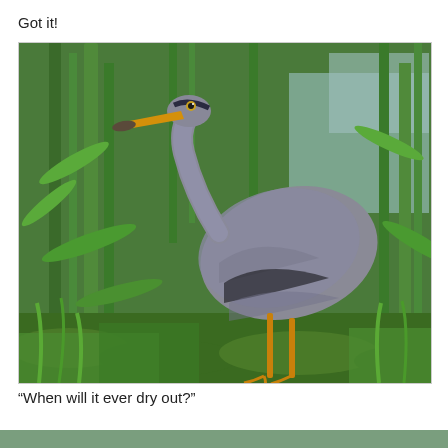Got it!
[Figure (photo): A great blue heron standing among tall green reeds and marsh grasses near water, photographed in a wetland setting. The bird has grey-blue plumage, a long yellow-orange beak, and long legs. It appears to be hunting or wading among the dense green vegetation with water visible in the background.]
“When will it ever dry out?”